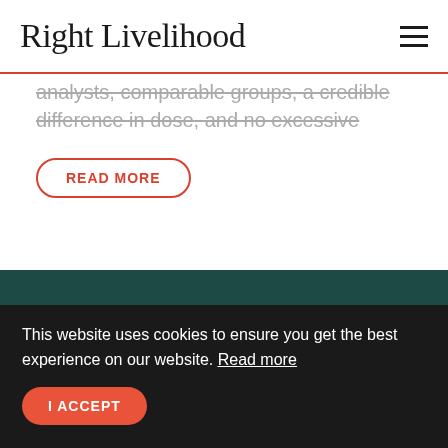Right Livelihood
analysts, comparable groups, a credible difference in dose, and no excessive
READ MORE
In ini n oli ti ld
This website uses cookies to ensure you get the best experience on our website. Read more
I ACCEPT